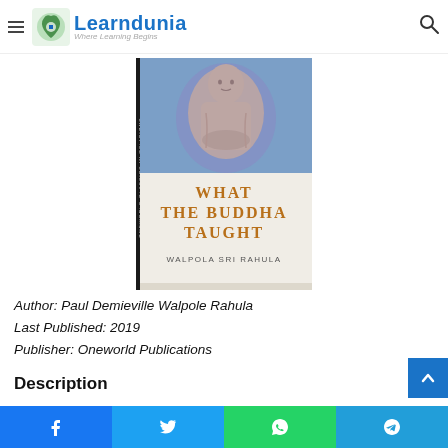Learndunia – Where Learning Begins
[Figure (photo): Book cover of 'What The Buddha Taught' by Walpola Sri Rahula, published by Oneworld Publications. Cover shows a Buddha statue on a blue/purple background with the title in bronze/orange letters and author name below.]
Author: Paul Demieville Walpole Rahula
Last Published: 2019
Publisher: Oneworld Publications
Description